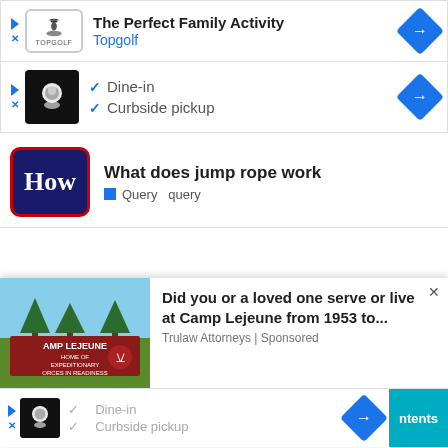[Figure (screenshot): Topgolf advertisement: logo with golf cap icon and text 'The Perfect Family Activity / Topgolf', with blue navigation arrow on right]
[Figure (screenshot): Restaurant advertisement with chef/cook logo image, check marks for 'Dine-in' and 'Curbside pickup', blue navigation arrow on right]
What does jump rope work
Query  query
[Figure (screenshot): Camp Lejeune advertisement banner with forest/military sign image, text: 'Did you or a loved one serve or live at Camp Lejeune from 1953 to...' / 'Trulauw Attorneys | Sponsored']
[Figure (screenshot): Bottom ad bar with restaurant logo, Dine-in and Curbside pickup checkmarks, blue arrow, and teal 'ntents' button]